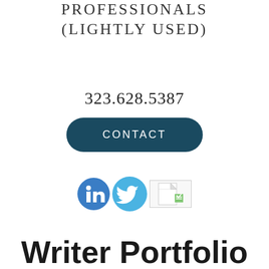PROFESSIONALS (LIGHTLY USED)
323.628.5387
CONTACT
[Figure (illustration): LinkedIn circle icon, Twitter bird circle icon, and a document/file icon arranged horizontally as social media links]
Writer Portfolio